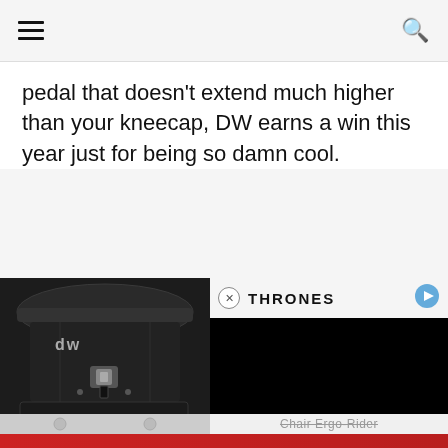≡  🔍
pedal that doesn't extend much higher than your kneecap, DW earns a win this year just for being so damn cool.
[Figure (photo): DW drum hardware product, a cylindrical black drum pedal component, with the DW logo visible on the front. The item appears to be a bass drum throne or pedal assembly.]
THRONES
[Figure (screenshot): Black video player overlay with a play button in the top right corner, showing a dark/black video frame with ad content for Chair Ergo-Rider product.]
Chair Ergo-Rider